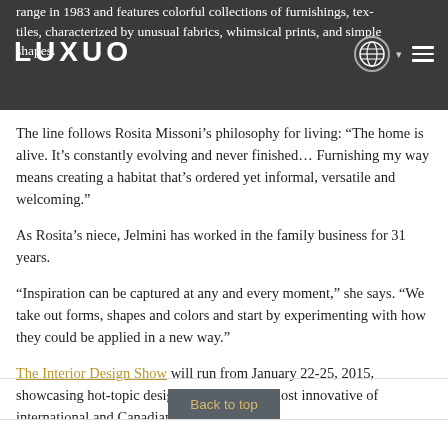range in 1983 and features colorful collections of furnishings, textiles, characterized by unusual fabrics, whimsical prints, and simple shapes.
The line follows Rosita Missoni's philosophy for living: “The home is alive. It’s constantly evolving and never finished… Furnishing my way means creating a habitat that’s ordered yet informal, versatile and welcoming.”
As Rosita’s niece, Jelmini has worked in the family business for 31 years.
“Inspiration can be captured at any and every moment,” she says. “We take out forms, shapes and colors and start by experimenting with how they could be applied in a new way.”
The Interior Design Show will run from January 22-25, 2015, showcasing hot-topic design trends and the most innovative of international and Canadian design.
Back to top